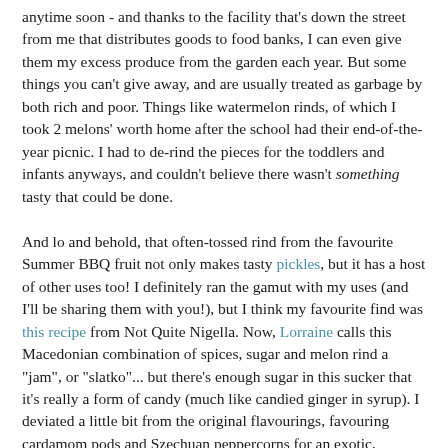anytime soon - and thanks to the facility that's down the street from me that distributes goods to food banks, I can even give them my excess produce from the garden each year. But some things you can't give away, and are usually treated as garbage by both rich and poor. Things like watermelon rinds, of which I took 2 melons' worth home after the school had their end-of-the-year picnic. I had to de-rind the pieces for the toddlers and infants anyways, and couldn't believe there wasn't something tasty that could be done.

And lo and behold, that often-tossed rind from the favourite Summer BBQ fruit not only makes tasty pickles, but it has a host of other uses too! I definitely ran the gamut with my uses (and I'll be sharing them with you!), but I think my favourite find was this recipe from Not Quite Nigella. Now, Lorraine calls this Macedonian combination of spices, sugar and melon rind a "jam", or "slatko"... but there's enough sugar in this sucker that it's really a form of candy (much like candied ginger in syrup). I deviated a little bit from the original flavourings, favouring cardamom pods and Szechuan peppercorns for an exotic, slightly floral experience. I didn't know what to expect, but what I got was a truly unique, addictive sweet treat - not only was it perfect to eat out of the jar (I wound up making two batches, but only canning one batch of one pint, but I'd definitely eat it...